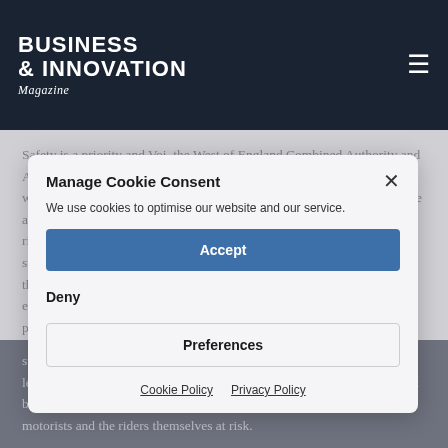BUSINESS & INNOVATION Magazine
Safety is a priority and Voi, the West of England Combined Authority and Avon & Somerset Police continue to work hard to ensure riders keep safe while they are on the move. Voi continues to educate its riders with online and in-person safety training events where it distributes free helmets to riders. Recently the micromobility operator made its three-strike policy stricter, and users who do not follow the e-scooter usage rules will see their accounts blocked temporarily or permanently. Residents are also encouraged to report instances of anti-social behaviour or misuse via this page.
Manage Cookie Consent
We use cookies to optimise our website and our service.
Accept
Deny
Preferences
Cookie Policy   Privacy Policy
Supt. Simon Brickwood, of Avon & Somerset Police's Roads Policing Unit, said: "We're keen for riders to be aware that e-scooters are subject to the same road traffic legislation as cars or mopeds and are only legal for use as part of government-led trial schemes. While they may not be capable of high speeds, irresponsible e-scooter use puts pedestrians, motorists and the riders themselves at risk.